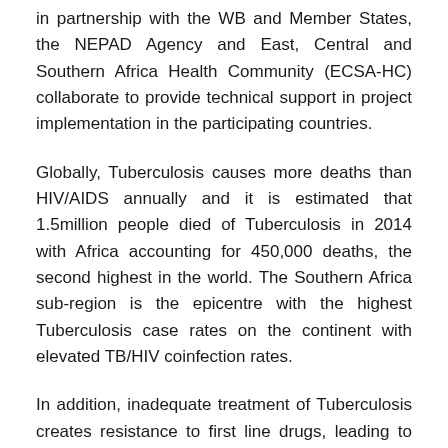in partnership with the WB and Member States, the NEPAD Agency and East, Central and Southern Africa Health Community (ECSA-HC) collaborate to provide technical support in project implementation in the participating countries.
Globally, Tuberculosis causes more deaths than HIV/AIDS annually and it is estimated that 1.5million people died of Tuberculosis in 2014 with Africa accounting for 450,000 deaths, the second highest in the world. The Southern Africa sub-region is the epicentre with the highest Tuberculosis case rates on the continent with elevated TB/HIV coinfection rates.
In addition, inadequate treatment of Tuberculosis creates resistance to first line drugs, leading to Multi-Drug Resistant (MDR) Tuberculosis which require much more expensive drugs to treat, with higher levels of toxicity, higher case fatality and increased treatment failure rates.